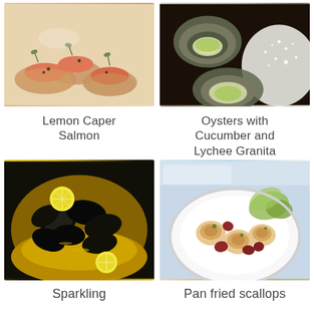[Figure (photo): Lemon caper salmon on toasts with dill garnish, top-down view]
Lemon Caper Salmon
[Figure (photo): Oysters with cucumber and lychee granita on a bed of salt]
Oysters with Cucumber and Lychee Granita
[Figure (photo): Sparkling mussels in yellow broth with lemon slices in a dark bowl]
Sparkling
[Figure (photo): Pan fried scallops with chorizo and salad on a white plate]
Pan fried scallops